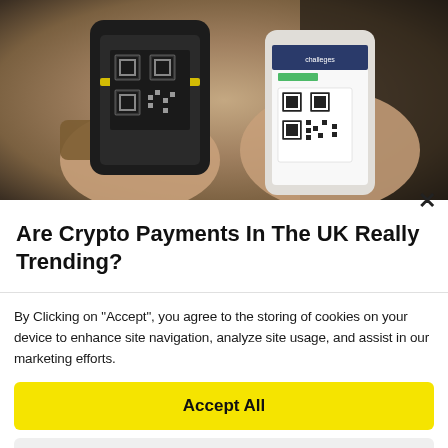[Figure (photo): Photo of two hands holding smartphones, scanning QR codes for a crypto/mobile payment transaction. One phone is dark/black showing a QR scanner, the other is white showing a QR code on screen.]
Are Crypto Payments In The UK Really Trending?
By Clicking on "Accept", you agree to the storing of cookies on your device to enhance site navigation, analyze site usage, and assist in our marketing efforts.
Accept All
Deny All
Cookie Settings